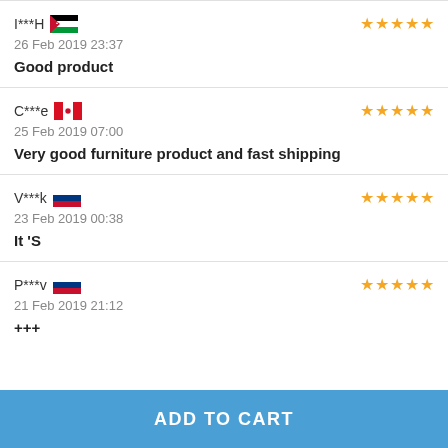I***H | 26 Feb 2019 23:37 | Good product | 5 stars
C***e | 25 Feb 2019 07:00 | Very good furniture product and fast shipping | 5 stars
V***k | 23 Feb 2019 00:38 | It 'S | 5 stars
P***v | 21 Feb 2019 21:12 | +++ | 5 stars
ADD TO CART